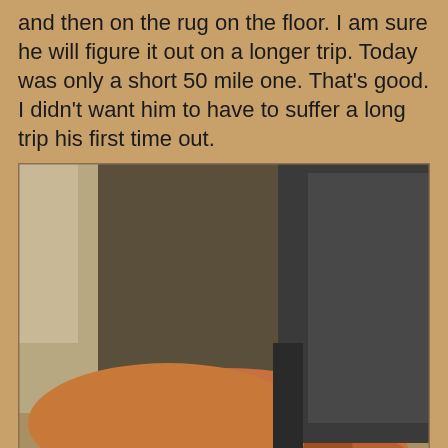and then on the rug on the floor. I am sure he will figure it out on a longer trip. Today was only a short 50 mile one. That's good. I didn't want him to have to suffer a long trip his first time out.
[Figure (photo): A dog lying down with its head resting between the front seats of a vehicle, appearing to be sleeping or resting on a tan/beige carpet. The dog is brown and white with a blue collar. A red seatbelt is visible on the left. The image has a watermark 'Dara 2014' in the bottom right corner.]
Decided I would watch more carefully for Palm Canyon Road and take a look up it to see if I could find a nice place to stay. I saw the sign and the road was just after the sign. I started braking and all the RVs behind me started braking and I just barely slowed down enough to make the right turn onto the road without being rear ended. Felt bad for having to slow so quickly, but they shouldn't have been so